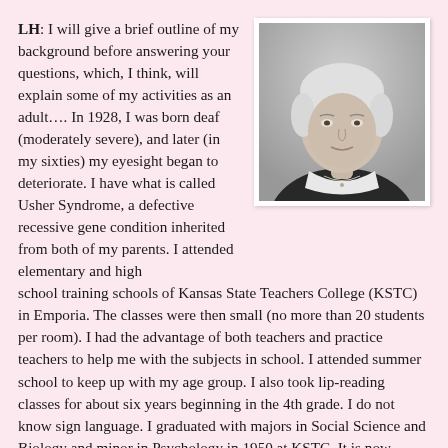LH: I will give a brief outline of my background before answering your questions, which, I think, will explain some of my activities as an adult…. In 1928, I was born deaf (moderately severe), and later (in my sixties) my eyesight began to deteriorate. I have what is called Usher Syndrome, a defective recessive gene condition inherited from both of my parents. I attended elementary and high school training schools of Kansas State Teachers College (KSTC) in Emporia. The classes were then small (no more than 20 students per room). I had the advantage of both teachers and practice teachers to help me with the subjects in school. I attended summer school to keep up with my age group. I also took lip-reading classes for about six years beginning in the 4th grade. I do not know sign language. I graduated with majors in Social Science and Biology and minor in Psychology in 1950 at KSTC. It is now Emporia State University. At the time I attended KSTC there were only 1500 students. Now, there are more than 5000 students.
[Figure (photo): Black and white portrait photograph of an elderly woman with short white hair, wearing a dark top with a white collar and a necklace, smiling slightly.]